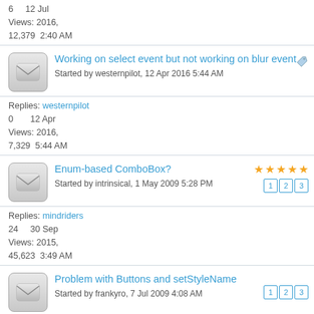6   12 Jul
Views: 2016,
12,379  2:40 AM
[Figure (screenshot): Forum topic: Working on select event but not working on blur event, started by westernpilot, 12 Apr 2016 5:44 AM]
Replies: westernpilot
0   12 Apr
Views: 2016,
7,329  5:44 AM
[Figure (screenshot): Forum topic: Enum-based ComboBox? started by intrinsical, 1 May 2009 5:28 PM, with star rating and page buttons 1 2 3]
Replies: mindriders
24   30 Sep
Views: 2015,
45,623  3:49 AM
[Figure (screenshot): Forum topic: Problem with Buttons and setStyleName, started by frankyro, 7 Jul 2009 4:08 AM, page buttons 1 2 3]
Replies: tahdijbeli